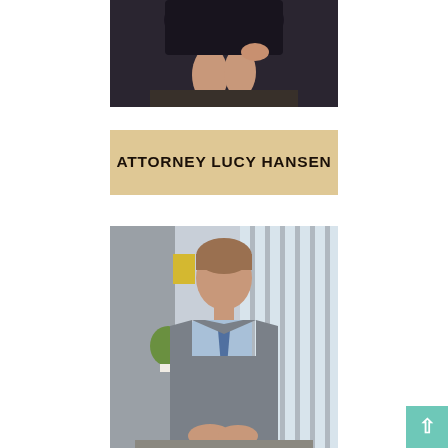[Figure (photo): Cropped professional photo of Attorney Lucy Hansen, showing lower torso in dark clothing, partially visible]
ATTORNEY LUCY HANSEN
[Figure (photo): Professional portrait photo of a male attorney in a gray suit and blue tie, seated in a bright hallway with large windows, smiling]